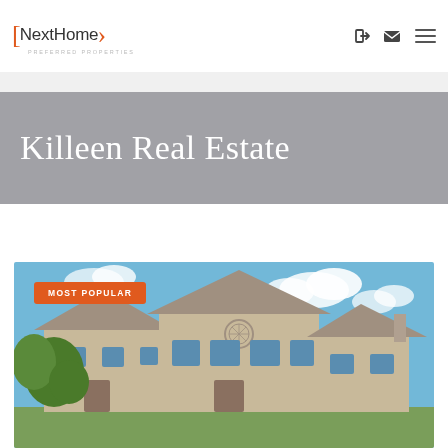[Figure (logo): NextHome Preferred Properties logo with orange brackets]
NextHome Preferred Properties
Killeen Real Estate
[Figure (photo): Exterior photo of a two-story beige/tan brick house with blue sky and green trees, with a MOST POPULAR badge overlay]